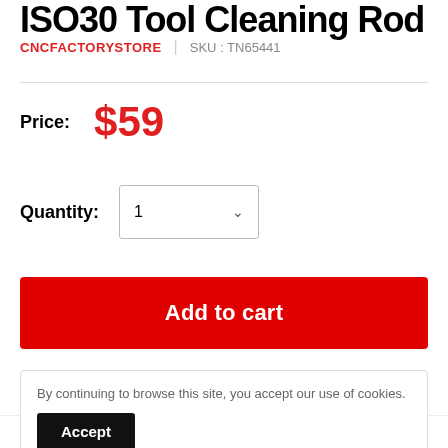ISO30 Tool Cleaning Rod
CNCFACTORYSTORE | SKU: TN65441
Price: $59
Quantity: 1
Add to cart
By continuing to browse this site, you accept our use of cookies.
Accept
Deluche A9696 ISO30 tool cleaning rod is perfect for